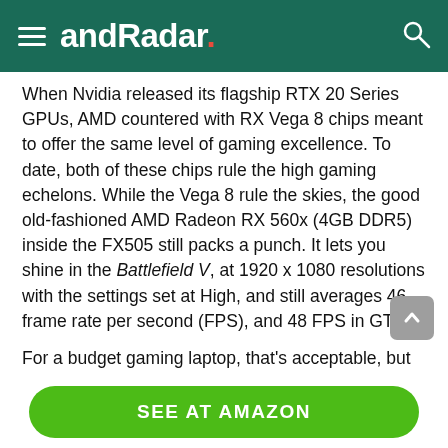andRadar.
When Nvidia released its flagship RTX 20 Series GPUs, AMD countered with RX Vega 8 chips meant to offer the same level of gaming excellence. To date, both of these chips rule the high gaming echelons. While the Vega 8 rule the skies, the good old-fashioned AMD Radeon RX 560x (4GB DDR5) inside the FX505 still packs a punch. It lets you shine in the Battlefield V, at 1920 x 1080 resolutions with the settings set at High, and still averages 46 frame rate per second (FPS), and 48 FPS in GTA V.
For a budget gaming laptop, that’s acceptable, but the scores improve to 54 and 83 FPS respectively, in medium settings. With this kind of gaming muscle, the Asus FX505DY-ES51 may not be the most powerful gaming
SEE AT AMAZON